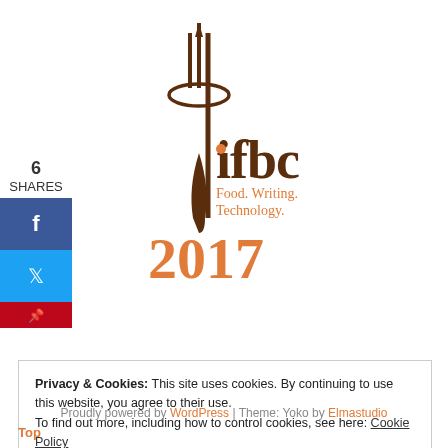[Figure (logo): IFBC logo — stylized fork/pen utensil with the text 'ifbc' in brown serif font, orange dot, and tagline 'Food. Writing. Technology.' in orange. Below, '2017' in large orange text partially visible.]
6
SHARES
f
Privacy & Cookies: This site uses cookies. By continuing to use this website, you agree to their use.
To find out more, including how to control cookies, see here: Cookie Policy
Close and accept
Proudly powered by WordPress | Theme: Yoko by Elmastudio
Top